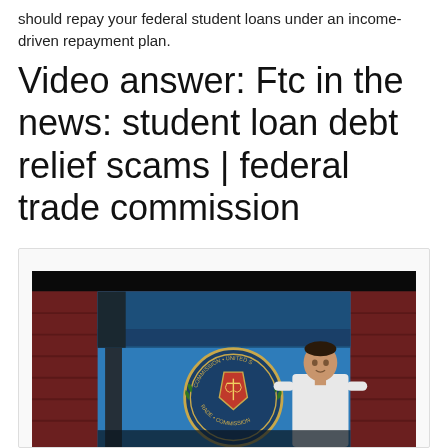should repay your federal student loans under an income-driven repayment plan.
Video answer: Ftc in the news: student loan debt relief scams | federal trade commission
[Figure (screenshot): Video thumbnail showing a news broadcast with a male presenter standing in front of a blue screen displaying the FTC (Federal Trade Commission) seal/logo. The background shows red stadium-style seating. The FTC seal reads 'TRADE COMMISSION • UNITED STATES'.]